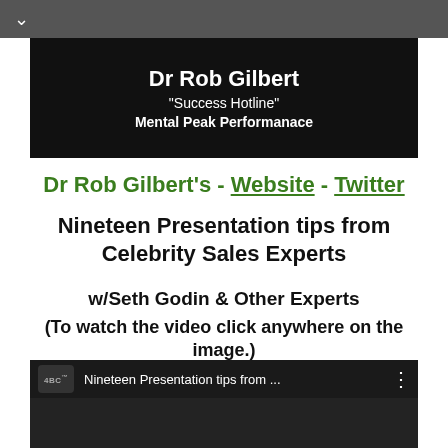v
[Figure (screenshot): Video thumbnail showing Dr Rob Gilbert, 'Success Hotline', Mental Peak Performanace text on dark background]
Dr Rob Gilbert's - Website - Twitter
Nineteen Presentation tips from Celebrity Sales Experts
w/Seth Godin & Other Experts
(To watch the video click anywhere on the image.)
[Figure (screenshot): YouTube video thumbnail: YBC logo, title 'Nineteen Presentation tips from ...' with three-dot menu]